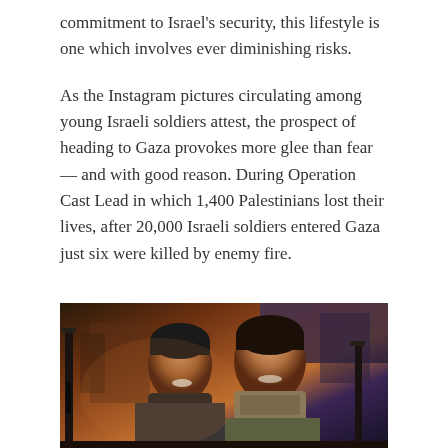commitment to Israel's security, this lifestyle is one which involves ever diminishing risks.
As the Instagram pictures circulating among young Israeli soldiers attest, the prospect of heading to Gaza provokes more glee than fear — and with good reason. During Operation Cast Lead in which 1,400 Palestinians lost their lives, after 20,000 Israeli soldiers entered Gaza just six were killed by enemy fire.
[Figure (photo): Two young men in winter military gear smiling at the camera, holding rifles, with a dark reddish-brown background suggesting an outdoor military environment at dusk.]